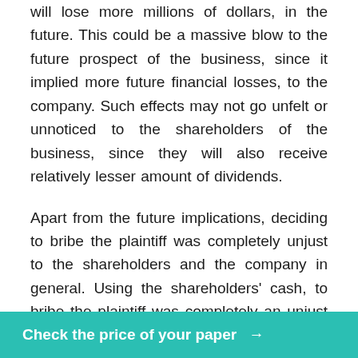will lose more millions of dollars, in the future. This could be a massive blow to the future prospect of the business, since it implied more future financial losses, to the company. Such effects may not go unfelt or unnoticed to the shareholders of the business, since they will also receive relatively lesser amount of dividends.
Apart from the future implications, deciding to bribe the plaintiff was completely unjust to the shareholders and the company in general. Using the shareholders' cash, to bribe the plaintiff was completely an unjust act, since it was a backward step for the company. The company lost a considerable amount of cash in bribing the plaintiff, who translated to reduced profits, in a broader perspective. Reduced investors, since
Check the price of your paper →